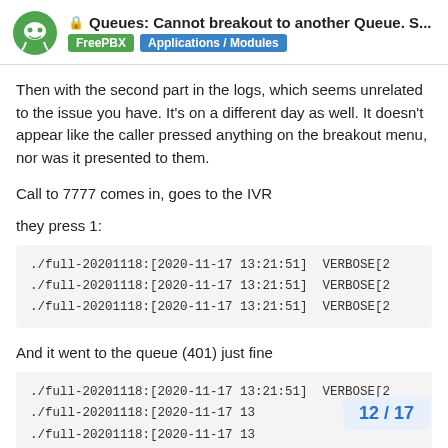🔒 Queues: Cannot breakout to another Queue. S... | FreePBX | Applications / Modules
Then with the second part in the logs, which seems unrelated to the issue you have. It's on a different day as well. It doesn't appear like the caller pressed anything on the breakout menu, nor was it presented to them.
Call to 7777 comes in, goes to the IVR
they press 1:
./full-20201118:[2020-11-17 13:21:51] VERBOSE[2
./full-20201118:[2020-11-17 13:21:51] VERBOSE[2
./full-20201118:[2020-11-17 13:21:51] VERBOSE[2
And it went to the queue (401) just fine
./full-20201118:[2020-11-17 13:21:51] VERBOSE[2
./full-20201118:[2020-11-17 13
./full-20201118:[2020-11-17 13